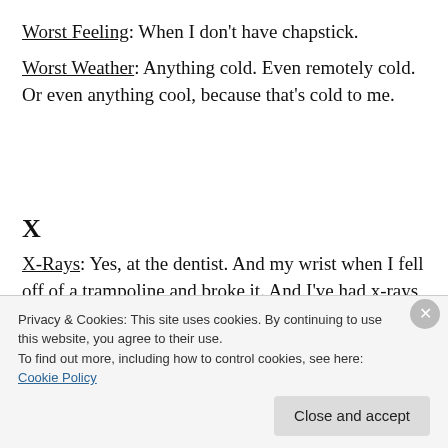Worst Feeling: When I don't have chapstick.
Worst Weather: Anything cold. Even remotely cold. Or even anything cool, because that's cold to me.
X
X-Rays: Yes, at the dentist. And my wrist when I fell off of a trampoline and broke it. And I've had x-rays of my spine. That's how I found out that my neck curves like this " ) "
Privacy & Cookies: This site uses cookies. By continuing to use this website, you agree to their use.
To find out more, including how to control cookies, see here: Cookie Policy